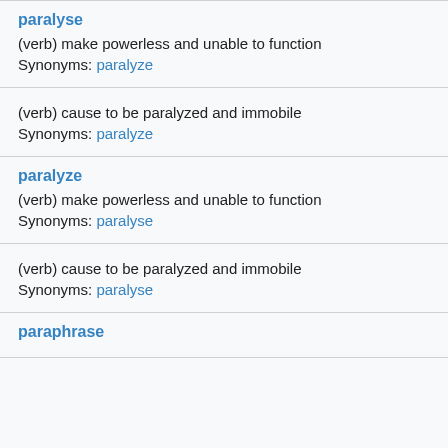paralyse
(verb) make powerless and unable to function
Synonyms: paralyze
(verb) cause to be paralyzed and immobile
Synonyms: paralyze
paralyze
(verb) make powerless and unable to function
Synonyms: paralyse
(verb) cause to be paralyzed and immobile
Synonyms: paralyse
paraphrase